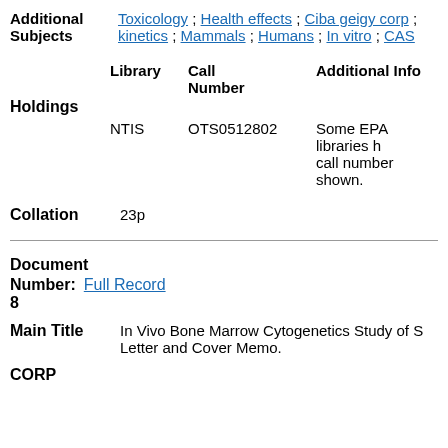Additional Subjects: Toxicology ; Health effects ; Ciba geigy corp ; kinetics ; Mammals ; Humans ; In vitro ; CAS
| Library | Call Number | Additional Info |
| --- | --- | --- |
| NTIS | OTS0512802 | Some EPA libraries h... call number shown. |
Holdings
Collation  23p
Document Number: Full Record 8
Main Title  In Vivo Bone Marrow Cytogenetics Study of S... Letter and Cover Memo.
CORP